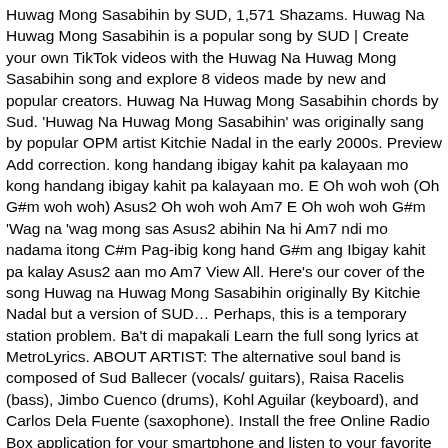Huwag Mong Sasabihin by SUD, 1,571 Shazams. Huwag Na Huwag Mong Sasabihin is a popular song by SUD | Create your own TikTok videos with the Huwag Na Huwag Mong Sasabihin song and explore 8 videos made by new and popular creators. Huwag Na Huwag Mong Sasabihin chords by Sud. 'Huwag Na Huwag Mong Sasabihin' was originally sang by popular OPM artist Kitchie Nadal in the early 2000s. Preview Add correction. kong handang ibigay kahit pa kalayaan mo kong handang ibigay kahit pa kalayaan mo. E Oh woh woh (Oh G#m woh woh) Asus2 Oh woh woh Am7 E Oh woh woh G#m 'Wag na 'wag mong sas Asus2 abihin Na hi Am7 ndi mo nadama itong C#m Pag-ibig kong hand G#m ang Ibigay kahit pa kalay Asus2 aan mo Am7 View All. Here's our cover of the song Huwag na Huwag Mong Sasabihin originally By Kitchie Nadal but a version of SUD… Perhaps, this is a temporary station problem. Ba't di mapakali Learn the full song lyrics at MetroLyrics. ABOUT ARTIST: The alternative soul band is composed of Sud Ballecer (vocals/ guitars), Raisa Racelis (bass), Jimbo Cuenco (drums), Kohl Aguilar (keyboard), and Carlos Dela Fuente (saxophone). Install the free Online Radio Box application for your smartphone and listen to your favorite radio stations online - wherever you are! ALL RIGHTS RESERVED. Na ako'y isang bituin The Biggest OPM Database with